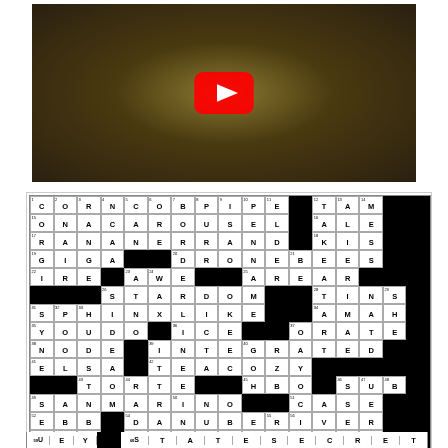[Figure (screenshot): YouTube video thumbnail showing a fuzzy/textured object in olive-green/brown tones with a YouTube play button overlay in the center]
[Figure (other): Completed crossword puzzle grid with answers filled in. Visible words include CORNCOBPIPE, ONACAROUSEL, RANANERRAND, GIGA, DRONEBEES, IRE, AWE, AREAR, STARDOM, TINS, SPHINXLIKE, AMAH, YOUDO, ICE, ORATE, NODE, INTEGRATED, ELSA, TEACOZY, TORTE, HBO, SUB, SANMARINO, CASE, EBB, DANUBERIVER, ALA, ANCIENTROME, UEY, STATESECRET]